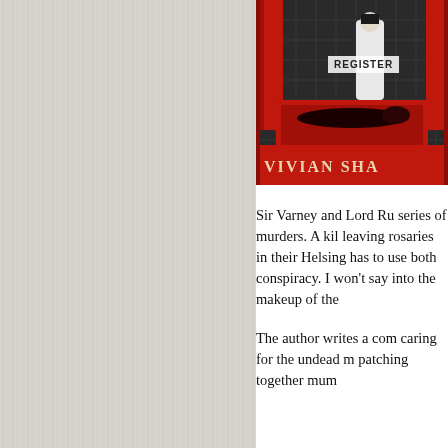[Figure (illustration): Book cover showing a figure on a red bed with a nun-like figure standing over, on a dark grey patterned background. Red architectural elements. Text 'VIVIAN SHA' visible at bottom. 'REGISTER' button overlaid on cover.]
Sir Varney and Lord Ru series of murders. A kil leaving rosaries in their Helsing has to use both conspiracy. I won't say into the makeup of the
The author writes a com caring for the undead m patching together mum